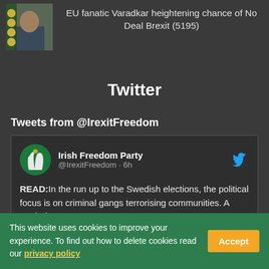[Figure (photo): Photo of a man in suit with EU flag in background, shown as thumbnail]
EU fanatic Varadkar heightening chance of No Deal Brexit (5195)
Twitter
Tweets from @IrexitFreedom
[Figure (screenshot): Tweet card from Irish Freedom Party @IrexitFreedom · 6h with harp logo avatar and Twitter bird icon]
READ:In the run up to the Swedish elections, the political focus is on criminal gangs terrorising communities. A reminder
This website uses cookies to improve your experience. To find out how to delete cookies read our privacy policy